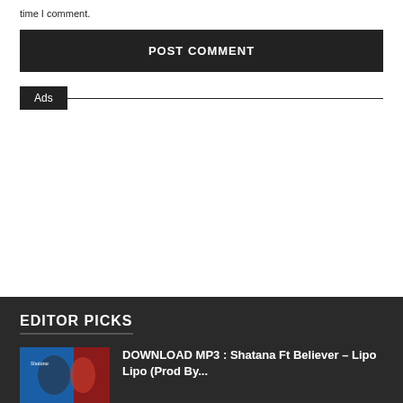time I comment.
POST COMMENT
Ads
EDITOR PICKS
DOWNLOAD MP3 : Shatana Ft Believer – Lipo Lipo (Prod By...